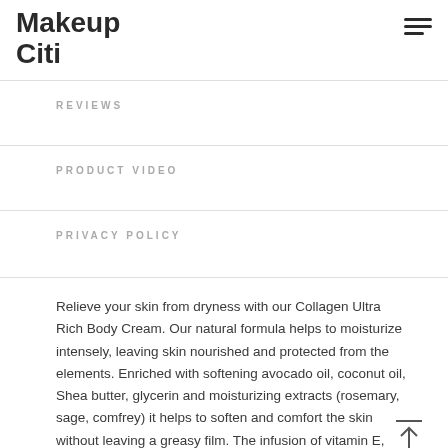Makeup Citi
REVIEWS
PRODUCT VIDEO
PRIVACY POLICY
Relieve your skin from dryness with our Collagen Ultra Rich Body Cream. Our natural formula helps to moisturize intensely, leaving skin nourished and protected from the elements. Enriched with softening avocado oil, coconut oil, Shea butter, glycerin and moisturizing extracts (rosemary, sage, comfrey) it helps to soften and comfort the skin without leaving a greasy film. The infusion of vitamin E, Biotin and collagen helps promote elasticity and suppleness of the skin.
Ingredients